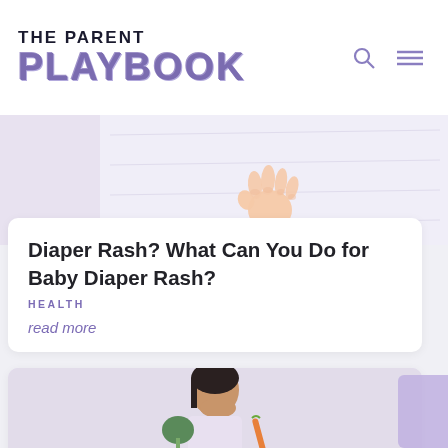THE PARENT PLAYBOOK
[Figure (photo): Partial view of a baby's hand on white fabric/surface]
Diaper Rash? What Can You Do for Baby Diaper Rash?
HEALTH
read more
[Figure (photo): Child making a disgusted face holding vegetables (broccoli and carrot)]